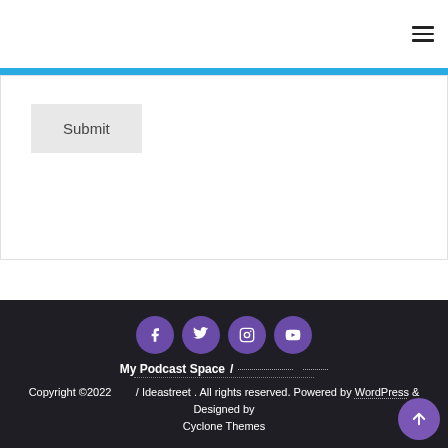Submit
[Figure (other): Footer with social media icons (Facebook, Twitter, Instagram, YouTube) as purple circles, site name 'My Podcast Space', dotted separator lines, copyright text, and back-to-top button]
Copyright ©2022 / Ideastreet . All rights reserved. Powered by WordPress & Designed by Cyclone Themes